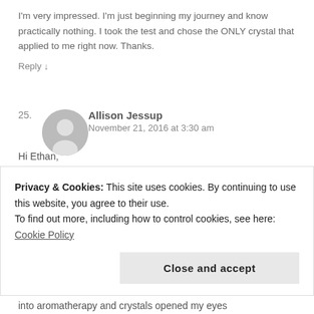I'm very impressed. I'm just beginning my journey and know practically nothing. I took the test and chose the ONLY crystal that applied to me right now. Thanks.
Reply ↓
25.
[Figure (illustration): Gray circular avatar placeholder with white person silhouette]
Allison Jessup
November 21, 2016 at 3:30 am
Hi Ethan,
I just started getting into stones and crystals within the past 3 weeks. I had some smaller rocks and crystals around the house and never paid much attention. My husband and i bought
Privacy & Cookies: This site uses cookies. By continuing to use this website, you agree to their use.
To find out more, including how to control cookies, see here: Cookie Policy
Close and accept
into aromatherapy and crystals opened my eyes